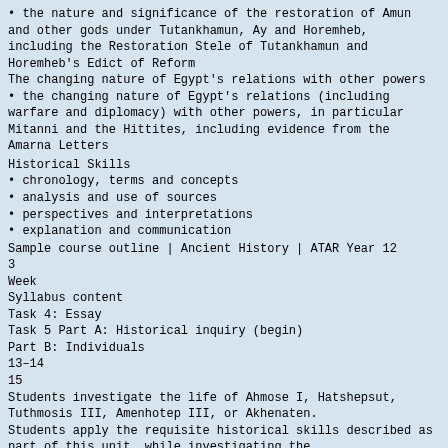• the nature and significance of the restoration of Amun and other gods under Tutankhamun, Ay and Horemheb, including the Restoration Stele of Tutankhamun and Horemheb's Edict of Reform
The changing nature of Egypt's relations with other powers
• the changing nature of Egypt's relations (including warfare and diplomacy) with other powers, in particular Mitanni and the Hittites, including evidence from the Amarna Letters
Historical Skills
• chronology, terms and concepts
• analysis and use of sources
• perspectives and interpretations
• explanation and communication
Sample course outline | Ancient History | ATAR Year 12
3
Week
Syllabus content
Task 4: Essay
Task 5 Part A: Historical inquiry (begin)
Part B: Individuals
13–14
15
Students investigate the life of Ahmose I, Hatshepsut, Tuthmosis III, Amenhotep III, or Akhenaten.
Students apply the requisite historical skills described as part of this unit, while investigating the
following about the individual: